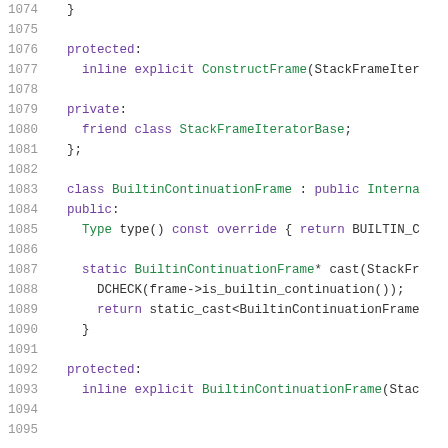[Figure (screenshot): Source code listing showing C++ class definitions for ConstructFrame and BuiltinContinuationFrame, with line numbers 1074-1094]